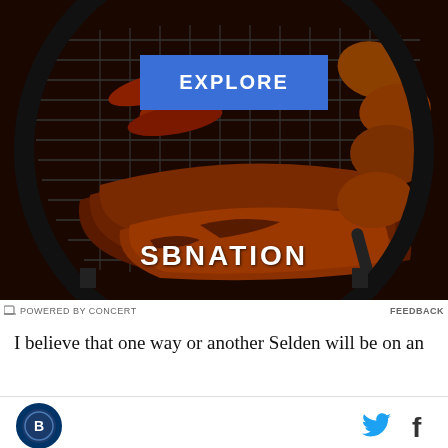[Figure (photo): SBNation advertisement showing a barbecue grill with ribs, sausages, and grilled meats on a round charcoal grill, with an 'EXPLORE' button overlay and SBNation logo at bottom]
POWERED BY CONCERT    FEEDBACK
I believe that one way or another Selden will be on an
Site icon and social media icons (Twitter, Facebook)